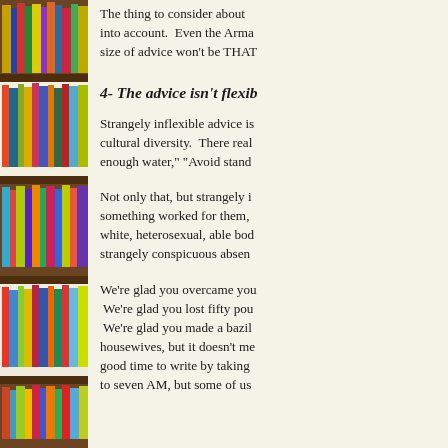[Figure (photo): A tall bookshelf filled with colorful books of varying sizes and colors, viewed from a slight angle.]
The thing to consider about into account.  Even the Arma size of advice won't be THAT
4- The advice isn't flexib
Strangely inflexible advice is cultural diversity.  There real enough water," "Avoid stand
Not only that, but strangely i something worked for them, white, heterosexual, able bod strangely conspicuous absen
We're glad you overcame you We're glad you lost fifty pou We're glad you made a bazil housewives, but it doesn't me good time to write by taking to seven AM, but some of us